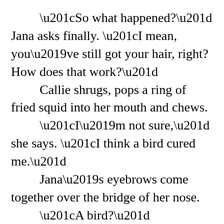“So what happened?” Jana asks finally. “I mean, you’ve still got your hair, right? How does that work?”
    Callie shrugs, pops a ring of fried squid into her mouth and chews.
    “I’m not sure,” she says. “I think a bird cured me.”
    Jana’s eyebrows come together over the bridge of her nose.
    “A bird?”
    “Yeah,” says Callie. “A crow, I think. Or maybe a raven? Do you know the difference?”
    Jana shakes her head, and finishes her wine in one gulp. Callie shovels a handful of calamari into her mouth.